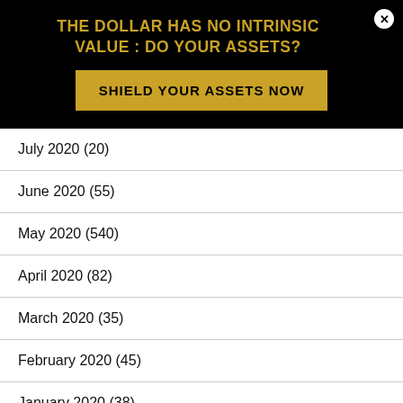THE DOLLAR HAS NO INTRINSIC VALUE : DO YOUR ASSETS?
SHIELD YOUR ASSETS NOW
July 2020 (20)
June 2020 (55)
May 2020 (540)
April 2020 (82)
March 2020 (35)
February 2020 (45)
January 2020 (38)
December 2019 (48)